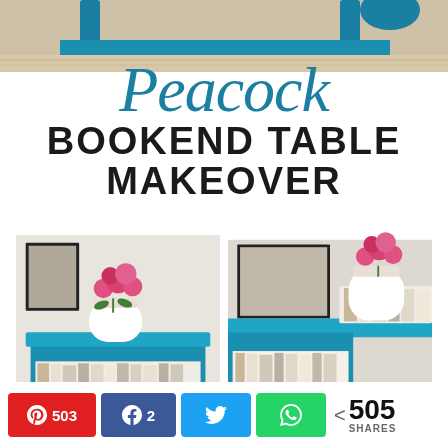[Figure (photo): Top partial photo of a teal painted bookend table on wood floor, cropped]
Peacock BOOKEND TABLE MAKEOVER
[Figure (photo): Two side-by-side photos of a peacock teal painted bookend table with pink flowers in white pot on top and books stacked inside the open shelf]
503
2
< 505 SHARES